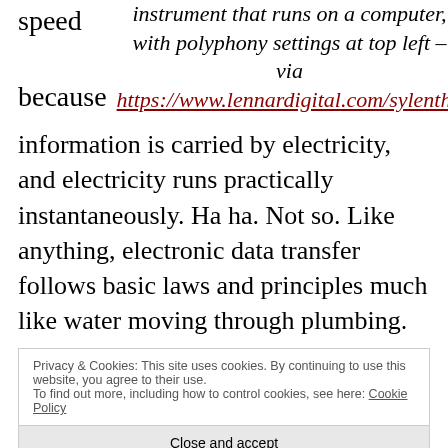speed

because
instrument that runs on a computer, with polyphony settings at top left – via https://www.lennardigital.com/sylenth1
information is carried by electricity, and electricity runs practically instantaneously. Ha ha. Not so. Like anything, electronic data transfer follows basic laws and principles much like water moving through plumbing.
Privacy & Cookies: This site uses cookies. By continuing to use this website, you agree to their use.
To find out more, including how to control cookies, see here: Cookie Policy
Close and accept
A bit of a diversion here, but it serves to